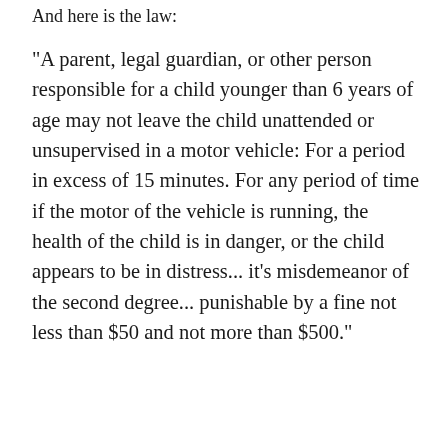And here is the law:
"A parent, legal guardian, or other person responsible for a child younger than 6 years of age may not leave the child unattended or unsupervised in a motor vehicle: For a period in excess of 15 minutes. For any period of time if the motor of the vehicle is running, the health of the child is in danger, or the child appears to be in distress... it's misdemeanor of the second degree... punishable by a fine not less than $50 and not more than $500."